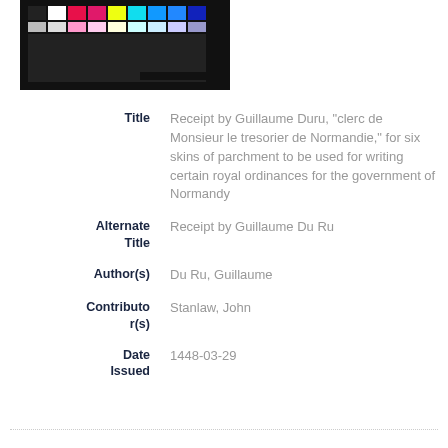[Figure (photo): Color calibration chart thumbnail showing rows of color swatches and grayscale patches on a dark background]
| Field | Value |
| --- | --- |
| Title | Receipt by Guillaume Duru, "clerc de Monsieur le tresorier de Normandie," for six skins of parchment to be used for writing certain royal ordinances for the government of Normandy |
| Alternate Title | Receipt by Guillaume Du Ru |
| Author(s) | Du Ru, Guillaume |
| Contributor(s) | Stanlaw, John |
| Date Issued | 1448-03-29 |